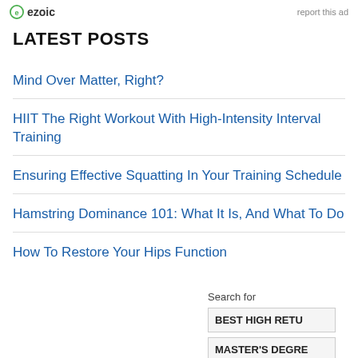ezoic   report this ad
LATEST POSTS
Mind Over Matter, Right?
HIIT The Right Workout With High-Intensity Interval Training
Ensuring Effective Squatting In Your Training Schedule
Hamstring Dominance 101: What It Is, And What To Do
How To Restore Your Hips Function
Search for
BEST HIGH RETU
MASTER'S DEGRE
Ad | Business Focus